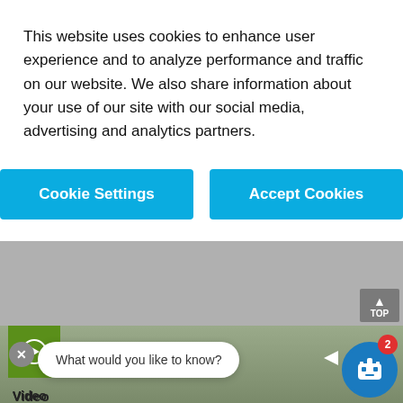This website uses cookies to enhance user experience and to analyze performance and traffic on our website. We also share information about your use of our site with our social media, advertising and analytics partners.
[Figure (screenshot): Cookie Settings button (blue) and Accept Cookies button (blue)]
Video
O4-204: BASF's New High-Performance Catalyst for the Oxidation of n-Butane to Maleic Anhydride
Watch video now
What would you like to know?